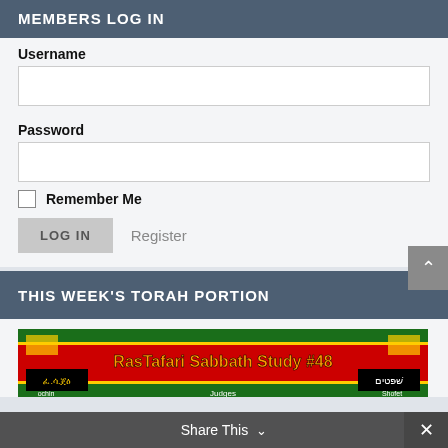MEMBERS LOG IN
Username
Password
Remember Me
LOG IN
Register
THIS WEEK'S TORAH PORTION
[Figure (screenshot): RasTafari Sabbath Study #48 thumbnail with colorful banner and text in multiple languages including Amharic and Hebrew]
Share This